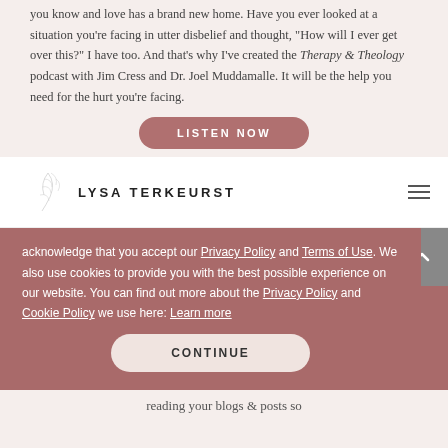you know and love has a brand new home. Have you ever looked at a situation you're facing in utter disbelief and thought, "How will I ever get over this?" I have too. And that's why I've created the Therapy & Theology podcast with Jim Cress and Dr. Joel Muddamalle. It will be the help you need for the hurt you're facing.
LISTEN NOW
[Figure (logo): Lysa TerKeurst logo with leaf illustration]
acknowledge that you accept our Privacy Policy and Terms of Use. We also use cookies to provide you with the best possible experience on our website. You can find out more about the Privacy Policy and Cookie Policy we use here: Learn more
CONTINUE
reading your blogs & posts so